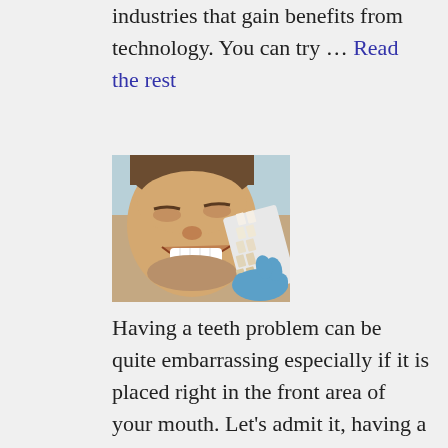industries that gain benefits from technology. You can try … Read the rest
[Figure (photo): A smiling man at a dental clinic holding a tooth shade guide up to his teeth, with a dental professional in blue gloves visible.]
Having a teeth problem can be quite embarrassing especially if it is placed right in the front area of your mouth. Let's admit it, having a dental imperfection is normal, but when the problem is too visible and noticeable, it … Read the rest